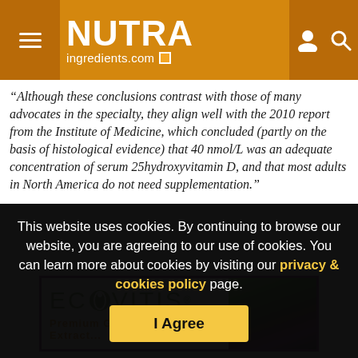NUTRAingredients.com
“Although these conclusions contrast with those of many advocates in the specialty, they align well with the 2010 report from the Institute of Medicine, which concluded (partly on the basis of histological evidence) that 40 nmol/L was an adequate concentration of serum 25hydroxyvitamin D, and that most adults in North America do not need supplementation.”
[Figure (illustration): ECOVITIS brand advertisement with green logo text and grape imagery on the right side, with purple border frame]
This website uses cookies. By continuing to browse our website, you are agreeing to our use of cookies. You can learn more about cookies by visiting our privacy & cookies policy page.
I Agree